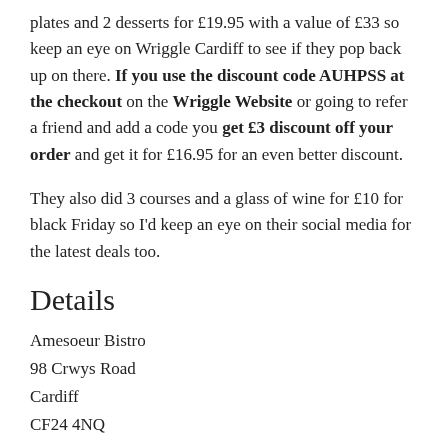plates and 2 desserts for £19.95 with a value of £33 so keep an eye on Wriggle Cardiff to see if they pop back up on there. If you use the discount code AUHPSS at the checkout on the Wriggle Website or going to refer a friend and add a code you get £3 discount off your order and get it for £16.95 for an even better discount.
They also did 3 courses and a glass of wine for £10 for black Friday so I'd keep an eye on their social media for the latest deals too.
Details
Amesoeur Bistro
98 Crwys Road
Cardiff
CF24 4NQ
Tel: 029 2022 8808